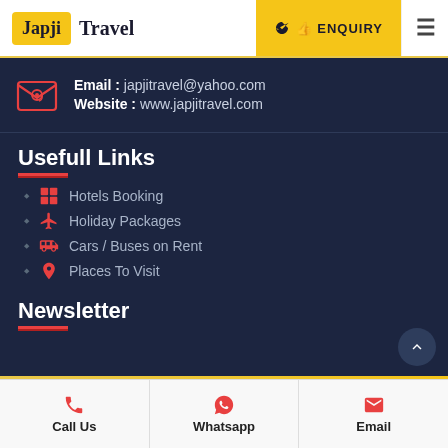Japji Travel | ENQUIRY
Email : japjitravel@yahoo.com
Website : www.japjitravel.com
Usefull Links
Hotels Booking
Holiday Packages
Cars / Buses on Rent
Places To Visit
Newsletter
Call Us | Whatsapp | Email